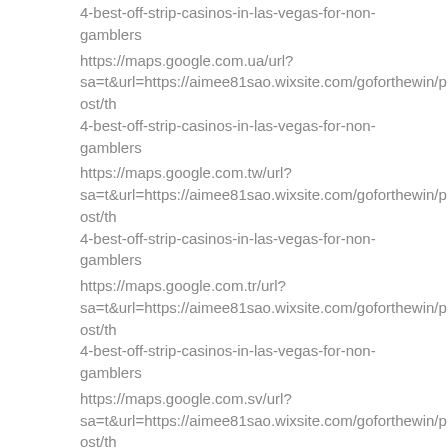4-best-off-strip-casinos-in-las-vegas-for-non-gamblers
https://maps.google.com.ua/url?sa=t&url=https://aimee81sao.wixsite.com/goforthewin/post/th 4-best-off-strip-casinos-in-las-vegas-for-non-gamblers
https://maps.google.com.tw/url?sa=t&url=https://aimee81sao.wixsite.com/goforthewin/post/th 4-best-off-strip-casinos-in-las-vegas-for-non-gamblers
https://maps.google.com.tr/url?sa=t&url=https://aimee81sao.wixsite.com/goforthewin/post/th 4-best-off-strip-casinos-in-las-vegas-for-non-gamblers
https://maps.google.com.sv/url?sa=t&url=https://aimee81sao.wixsite.com/goforthewin/post/th 4-best-off-strip-casinos-in-las-vegas-for-non-gamblers
https://maps.google.com.sg/url?